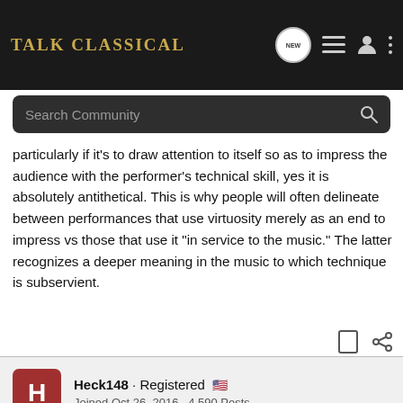Talk Classical
particularly if it's to draw attention to itself so as to impress the audience with the performer's technical skill, yes it is absolutely antithetical. This is why people will often delineate between performances that use virtuosity merely as an end to impress vs those that use it "in service to the music." The latter recognizes a deeper meaning in the music to which technique is subservient.
Heck148 · Registered
Joined Oct 26, 2016 · 4,590 Posts
#87 · Jul 23, 2021 (Edited)